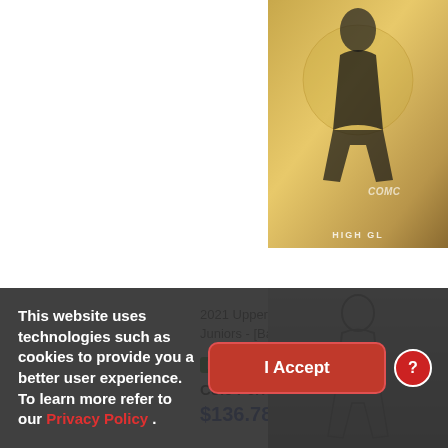[Figure (photo): Trading card image with gold/maple leaf background, partially cropped on right side. Shows COMC watermark and HIGH GL text at bottom.]
2021 Upper Deck Tea... Juniors - [Base] - Hig...
PRC
Cole Perfetti #/25
$136.78
[Figure (photo): Second trading card image, grayscale/sketch style, partially visible at bottom right.]
This website uses technologies such as cookies to provide you a better user experience. To learn more refer to our Privacy Policy .